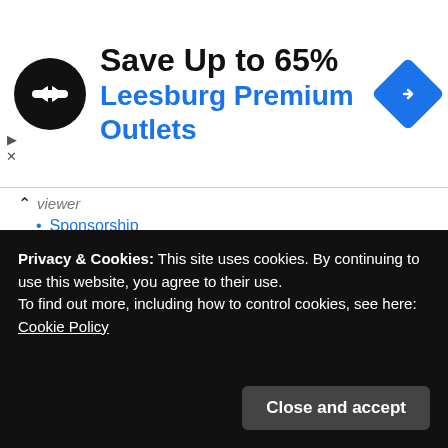[Figure (illustration): Advertisement banner: black circle logo with double arrow icon, text 'Save Up to 65% Leesburg Premium Outlets', blue navigation diamond icon on right. Small play/close controls on left edge.]
viewer
Sponsorship
Submit Christian News
Terms of Service and Privacy Policy
The Testimonial of Steve Patterson, blog owner
First published October 22, 2019. Last updated or republished May 29, 2021.
[Figure (screenshot): Green 'Print Friendly' button with printer icon]
Privacy & Cookies: This site uses cookies. By continuing to use this website, you agree to their use.
To find out more, including how to control cookies, see here: Cookie Policy